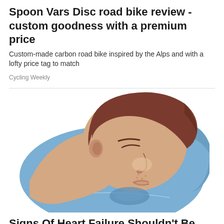Spoon Vars Disc road bike review - custom goodness with a premium price
Custom-made carbon road bike inspired by the Alps and with a lofty price tag to match
Cycling Weekly
[Figure (illustration): Illustration of a man sleeping on a blue pillow, shown from above/side angle, with dark brown hair and skin tones rendered in a stylized vector art style. A wet drool spot is visible on the pillow.]
Signs Of Heart Failure Shouldn't Be Taken